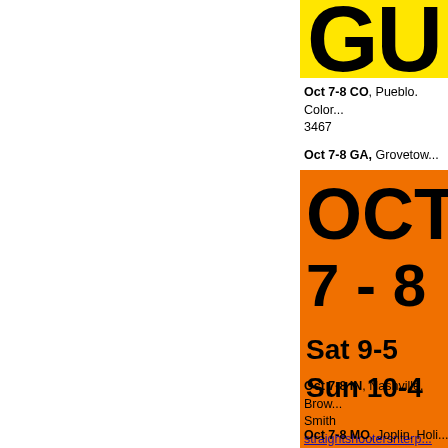[Figure (other): Yellow banner with large black letters 'GU' (partial, cropped)]
Oct 7-8 CO, Pueblo. Color... 3467
Oct 7-8 GA, Grovetow...
[Figure (other): Orange banner with large black text: OCT 7 - 8, Sat 9-5, Sun 10-4]
Oct 7-8 IN, Nashville. Brow... Smith straightshootersnterp...
Oct 7-8 MO, Joplin. Holi...
[Figure (other): Red banner with large black outlined text: OCT (partial)]